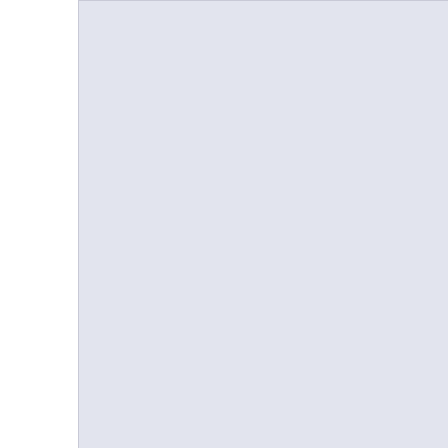[Figure (screenshot): Light blue-gray rectangular panel representing a cropped screenshot area on the left portion of the page]
[Figure (screenshot): Partial UI form panel visible on the right side showing certificate configuration fields including: Certificate name, Certificate provider, ACME account, Key type, Key size, Automatically renew, Request key rollover, Keyring file, ACME Alternative; Section 'Certificate Attributes' with fields: Common Name, Organization, Country, Locality, State or province, Organizational]
You can validate the certificate as sh